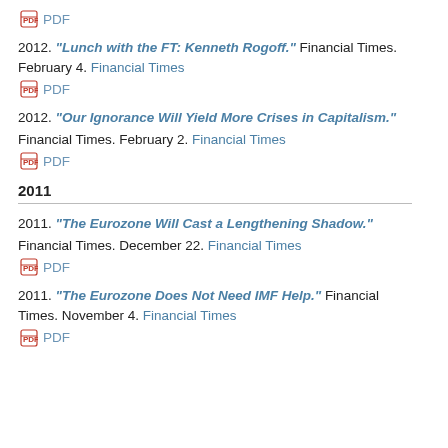PDF
2012. “Lunch with the FT: Kenneth Rogoff.” Financial Times. February 4. Financial Times PDF
2012. “Our Ignorance Will Yield More Crises in Capitalism.” Financial Times. February 2. Financial Times PDF
2011
2011. “The Eurozone Will Cast a Lengthening Shadow.” Financial Times. December 22. Financial Times PDF
2011. “The Eurozone Does Not Need IMF Help.” Financial Times. November 4. Financial Times PDF